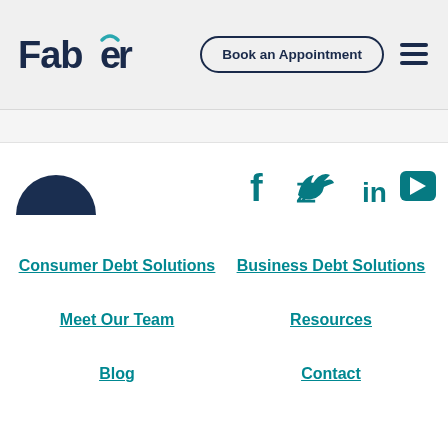[Figure (logo): Faber company logo with stylized text]
[Figure (screenshot): Book an Appointment button with rounded border]
[Figure (infographic): Hamburger menu icon (three horizontal lines)]
[Figure (logo): Large dark blue arch/semicircle logo icon]
[Figure (infographic): Social media icons: Facebook, Twitter, LinkedIn, YouTube in teal]
Consumer Debt Solutions
Business Debt Solutions
Meet Our Team
Resources
Blog
Contact